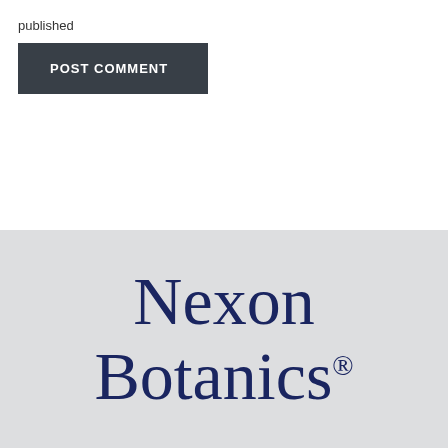published
POST COMMENT
[Figure (logo): Nexon Botanics registered trademark logo in dark navy serif font on light grey background]